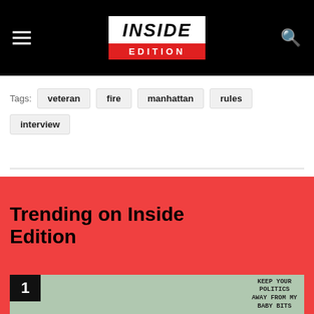INSIDE EDITION
Tags: veteran  fire  manhattan  rules  interview
Trending on Inside Edition
[Figure (photo): Protest photo with sign reading KEEP YOUR POLITICS AWAY FROM MY [BABY BITS], numbered 1 in trending list]